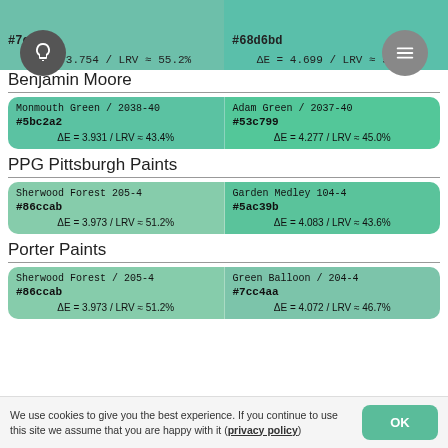[Figure (screenshot): Partial color swatch strip at top: left cell #7cd5b4 with ΔE=3.754/LRV≈55.2%, right cell #68d6bd with ΔE=4.699/LRV≈54.7%. Light bulb icon overlay on left, menu icon on right.]
Benjamin Moore
| Monmouth Green / 2038-40 | Adam Green / 2037-40 |
| #5bc2a2 | #53c799 |
| ΔE = 3.931 / LRV ≈ 43.4% | ΔE = 4.277 / LRV ≈ 45.0% |
PPG Pittsburgh Paints
| Sherwood Forest 205-4 | Garden Medley 104-4 |
| #86ccab | #5ac39b |
| ΔE = 3.973 / LRV ≈ 51.2% | ΔE = 4.083 / LRV ≈ 43.6% |
Porter Paints
| Sherwood Forest / 205-4 | Green Balloon / 204-4 |
| #86ccab | #7cc4aa |
| ΔE = 3.973 / LRV ≈ 51.2% | ΔE = 4.072 / LRV ≈ 46.7% |
We use cookies to give you the best experience. If you continue to use this site we assume that you are happy with it (privacy policy)